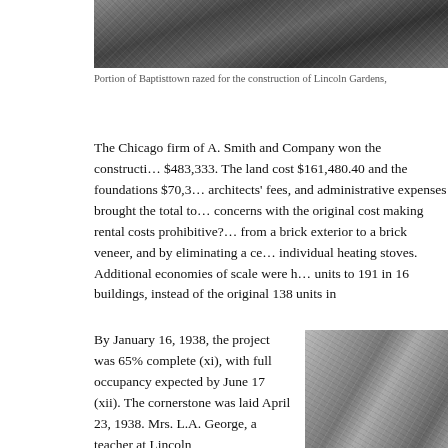[Figure (photo): Aerial black and white photograph of Baptisttown area razed for the construction of Lincoln Gardens]
Portion of Baptisttown razed for the construction of Lincoln Gardens,
The Chicago firm of A. Smith and Company won the construction contract for $483,333. The land cost $161,480.40 and the foundations $70,3... architects' fees, and administrative expenses brought the total to... concerns with the original cost making rental costs prohibitive?... from a brick exterior to a brick veneer, and by eliminating a cen... individual heating stoves. Additional economies of scale were h... units to 191 in 16 buildings, instead of the original 138 units in
By January 16, 1938, the project was 65% complete (xi), with full occupancy expected by June 17 (xii). The cornerstone was laid April 23, 1938. Mrs. L.A. George, a teacher at Lincoln
[Figure (photo): Black and white photograph showing construction workers and heavy machinery at the Lincoln Gardens construction site]